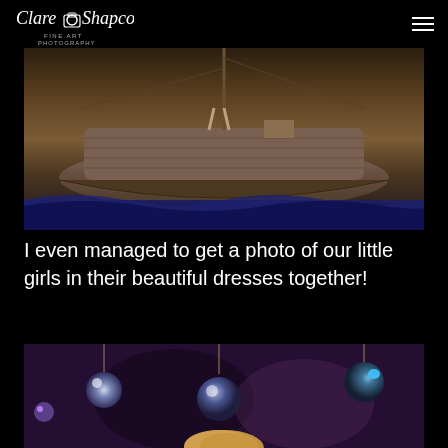Clare Shapcott Fine Art Photography
[Figure (photo): A wooden sailboat prop photographed from above/side angle, showing the hull and deck with small figures visible, floating above dark blue wave-like fabric or material, set against a dark brown background]
I even managed to get a photo of our little girls in their beautiful dresses together!
[Figure (photo): Bottom portion of a fine art photography scene with purple/mauve textured background and hanging glass orb light bulbs with reflective highlights, with the top of a child's blonde head visible at the bottom edge]